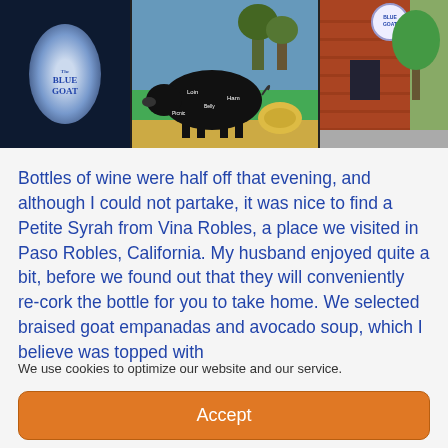[Figure (photo): Three side-by-side photos: left shows Blue Goat logo on dark oval background, center shows a pig butcher chart mural with colorful background, right shows brick exterior of building with Blue Goat sign circle]
Bottles of wine were half off that evening, and although I could not partake, it was nice to find a Petite Syrah from Vina Robles, a place we visited in Paso Robles, California. My husband enjoyed quite a bit, before we found out that they will conveniently re-cork the bottle for you to take home. We selected braised goat empanadas and avocado soup, which I believe was topped with
We use cookies to optimize our website and our service.
Accept